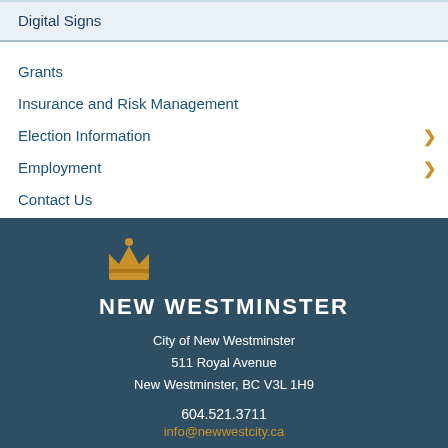Digital Signs
Grants
Insurance and Risk Management
Election Information
Employment
Contact Us
[Figure (logo): Crown logo above NEW WESTMINSTER city name in white text on dark blue background]
City of New Westminster
511 Royal Avenue
New Westminster, BC V3L 1H9
604.521.3711
info@newwestcity.ca